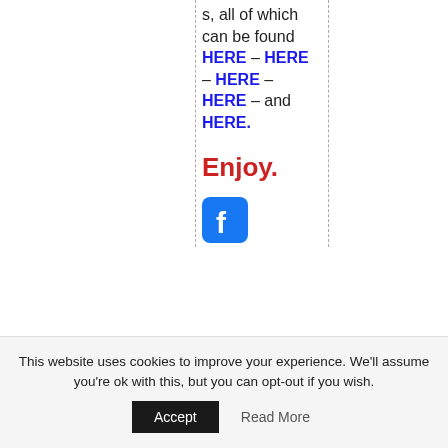s, all of which can be found HERE – HERE – HERE – HERE – and HERE.
Enjoy.
[Figure (logo): Partial Facebook icon (blue rounded square with white f) visible at bottom of content column]
This website uses cookies to improve your experience. We'll assume you're ok with this, but you can opt-out if you wish.